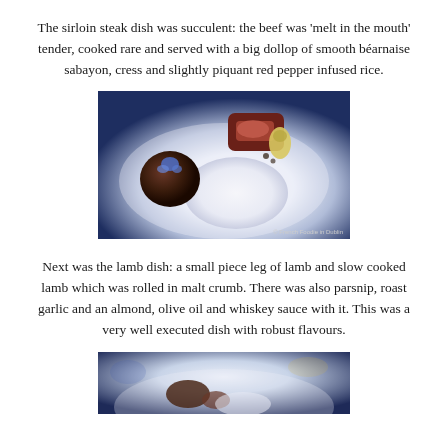The sirloin steak dish was succulent: the beef was 'melt in the mouth' tender, cooked rare and served with a big dollop of smooth béarnaise sabayon, cress and slightly piquant red pepper infused rice.
[Figure (photo): A fine dining plate showing sirloin steak cooked rare, a round ball coated in dark crumb topped with a blue flower, a smooth white sauce quenelle, and a small garnish, on a white plate with blue ambient lighting. Watermark: © French Foodie in Dublin]
Next was the lamb dish: a small piece leg of lamb and slow cooked lamb which was rolled in malt crumb. There was also parsnip, roast garlic and an almond, olive oil and whiskey sauce with it. This was a very well executed dish with robust flavours.
[Figure (photo): Partial view of a fine dining lamb dish on a white plate with blue ambient lighting, showing elements of the lamb dish described above.]